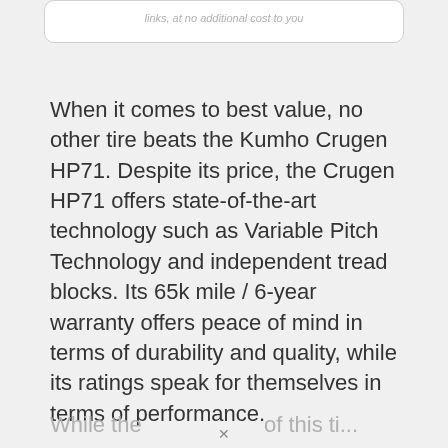links, at no additional cost to you
When it comes to best value, no other tire beats the Kumho Crugen HP71. Despite its price, the Crugen HP71 offers state-of-the-art technology such as Variable Pitch Technology and independent tread blocks. Its 65k mile / 6-year warranty offers peace of mind in terms of durability and quality, while its ratings speak for themselves in terms of performance.
While the...